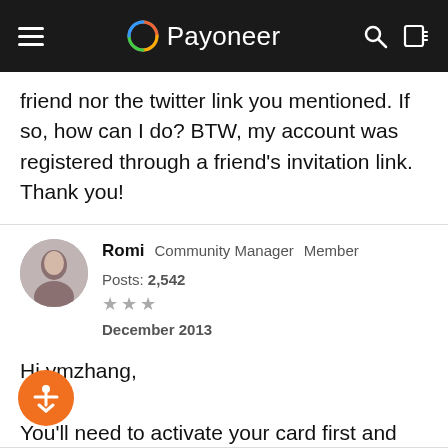Payoneer
friend nor the twitter link you mentioned. If so, how can I do? BTW, my account was registered through a friend's invitation link. Thank you!
Romi  Community Manager  Member  Posts: 2,542
★★★
December 2013
Hi ymzhang,
You'll need to activate your card first and then you'll see the referral banner and be able to refer your friends with your links.